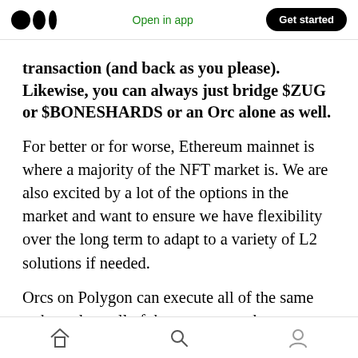Open in app  Get started
transaction (and back as you please). Likewise, you can always just bridge $ZUG or $BONESHARDS or an Orc alone as well.
For better or for worse, Ethereum mainnet is where a majority of the NFT market is. We are also excited by a lot of the options in the market and want to ensure we have flexibility over the long term to adapt to a variety of L2 solutions if needed.
Orcs on Polygon can execute all of the same tasks and get all of the same rewards as your Orc on
home search profile